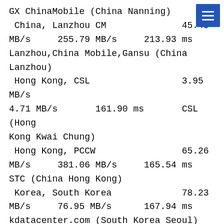GX ChinaMobile (China Nanning)
 China, Lanzhou CM                45.45
MB/s      255.79 MB/s      213.93 ms
Lanzhou,China Mobile,Gansu (China Lanzhou)
 Hong Kong, CSL                   3.95 MB/s
4.71 MB/s       161.90 ms        CSL (Hong Kong Kwai Chung)
 Hong Kong, PCCW                  65.26
MB/s      381.06 MB/s      165.54 ms
STC (China Hong Kong)
 Korea, South Korea               78.23
MB/s      76.95 MB/s       167.94 ms
kdatacenter.com (South Korea Seoul)
 Japan, GLBB                      78.15